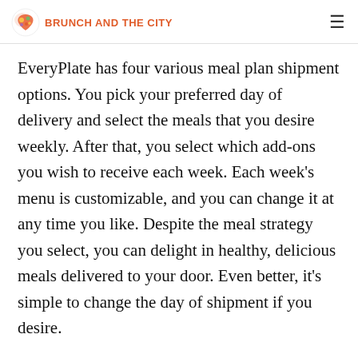BRUNCH AND THE CITY
EveryPlate has four various meal plan shipment options. You pick your preferred day of delivery and select the meals that you desire weekly. After that, you select which add-ons you wish to receive each week. Each week's menu is customizable, and you can change it at any time you like. Despite the meal strategy you select, you can delight in healthy, delicious meals delivered to your door. Even better, it's simple to change the day of shipment if you desire.